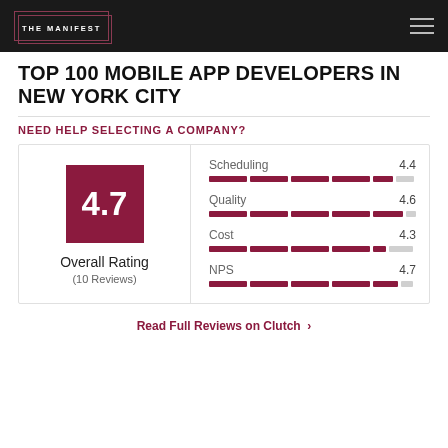THE MANIFEST
TOP 100 MOBILE APP DEVELOPERS IN NEW YORK CITY
NEED HELP SELECTING A COMPANY?
[Figure (infographic): Rating card showing Overall Rating of 4.7 (10 Reviews) with sub-ratings: Scheduling 4.4, Quality 4.6, Cost 4.3, NPS 4.7, each with a segmented bar chart.]
Read Full Reviews on Clutch ›